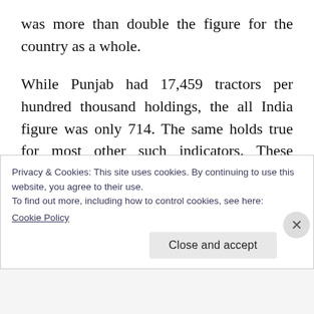was more than double the figure for the country as a whole.
While Punjab had 17,459 tractors per hundred thousand holdings, the all India figure was only 714. The same holds true for most other such indicators. These achievements have also been widely recognized.
At the sociological and political level, this growth of rural capitalism during the 1960s and
Privacy & Cookies: This site uses cookies. By continuing to use this website, you agree to their use.
To find out more, including how to control cookies, see here:
Cookie Policy
Close and accept